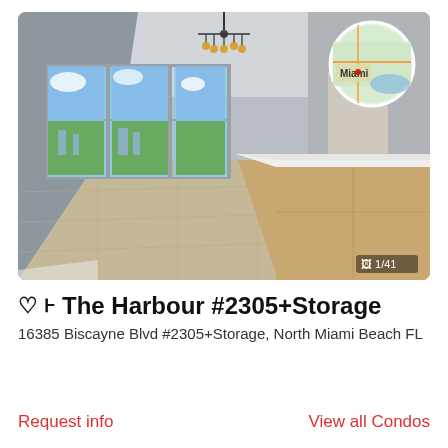[Figure (photo): Interior photo of a modern condo living room with kitchen island, hardwood floors, floor-to-ceiling windows with city view, chandelier, and a circular map overlay showing Miami location. Photo counter shows 1/41.]
The Harbour #2305+Storage
16385 Biscayne Blvd #2305+Storage, North Miami Beach FL
Request info
View all Condos